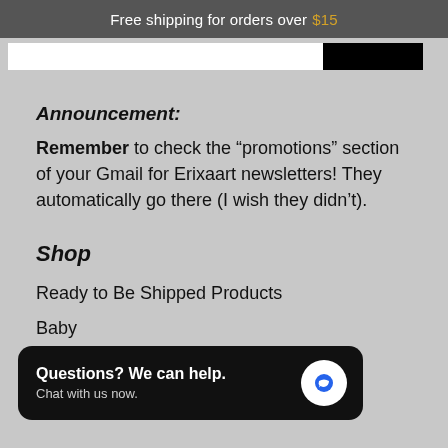Free shipping for orders over $15
Announcement:
Remember to check the “promotions” section of your Gmail for Erixaart newsletters! They automatically go there (I wish they didn’t).
Shop
Ready to Be Shipped Products
Baby
Questions? We can help. Chat with us now.